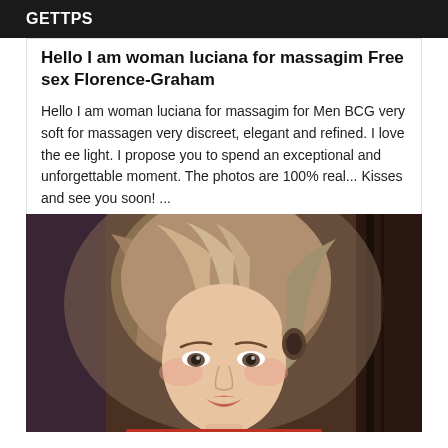GETTPS
Hello I am woman luciana for massagim Free sex Florence-Graham
Hello I am woman luciana for massagim for Men BCG very soft for massagen very discreet, elegant and refined. I love the ee light. I propose you to spend an exceptional and unforgettable moment. The photos are 100% real... Kisses and see you soon! ...
[Figure (photo): Portrait photo of a blonde woman with long hair, looking at the camera, wearing red clothing, taken in a room with dark wood elements in the background.]